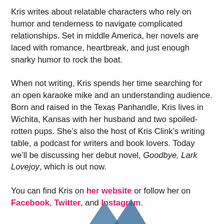Kris writes about relatable characters who rely on humor and tenderness to navigate complicated relationships. Set in middle America, her novels are laced with romance, heartbreak, and just enough snarky humor to rock the boat.
When not writing, Kris spends her time searching for an open karaoke mike and an understanding audience. Born and raised in the Texas Panhandle, Kris lives in Wichita, Kansas with her husband and two spoiled-rotten pups. She’s also the host of Kris Clink’s writing table, a podcast for writers and book lovers. Today we’ll be discussing her debut novel, Goodbye, Lark Lovejoy, which is out now.
You can find Kris on her website or follow her on Facebook, Twitter, and Instagram.
[Figure (illustration): Partial view of two blue geometric/angular decorative shapes at the bottom of the page]